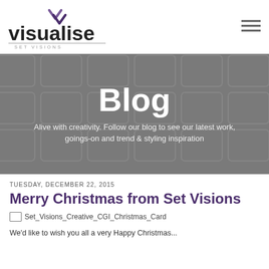[Figure (logo): Visualise logo with chevron/checkmark icon above text, 'visualise' in bold black, 'SET VISIONS' subtitle in small grey caps, horizontal line separator]
[Figure (other): Hamburger menu icon (three horizontal lines) in top right corner]
[Figure (infographic): Dark grey hero banner with subtle grid/rectangle pattern overlay in background]
Blog
Alive with creativity. Follow our blog to see our latest work, goings-on and trend & styling inspiration
TUESDAY, DECEMBER 22, 2015
Merry Christmas from Set Visions
[Figure (photo): Broken image placeholder labeled Set_Visions_Creative_CGI_Christmas_Card]
We'd like to wish you all a very Happy Christmas...